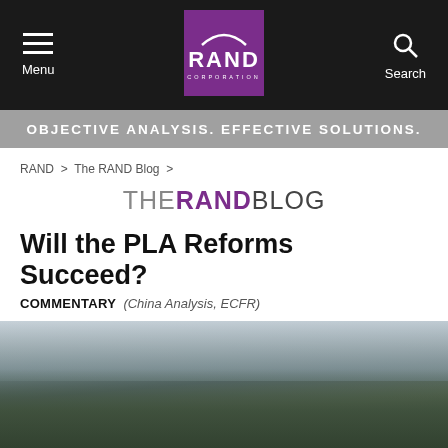Menu | RAND CORPORATION | Search
OBJECTIVE ANALYSIS. EFFECTIVE SOLUTIONS.
RAND > The RAND Blog >
THE RAND Blog
Will the PLA Reforms Succeed?
COMMENTARY (China Analysis, ECFR)
[Figure (photo): Chinese PLA soldiers in camouflage uniforms and winter hats marching in a snowy landscape, carrying flags and rifles, practicing military drills]